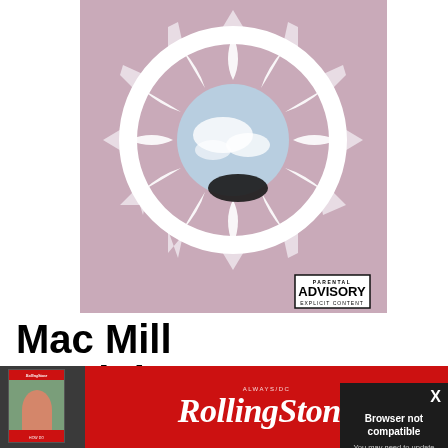[Figure (photo): Mac Miller 'The Divine Feminine' album cover — white sunburst/mirror frame on pink/mauve background with parental advisory label]
Mac Mill... 'The Divi... Feminin...
Mac Miller's eme... sensitive, sentime... fitful. But with Th... exploring the ups... "Dang!," "Stay,"... Favorite Part." W...
[Figure (screenshot): Browser not compatible modal overlay — dark background with text: 'Browser not compatible', 'You may need to update your browser', 'Report ID: 1gb5d7m0127gv4cqjrv' and X close button]
[Figure (logo): Rolling Stone advertisement banner — red background with Rolling Stone magazine cover thumbnail on left and RollingStone logo in white italic text on right]